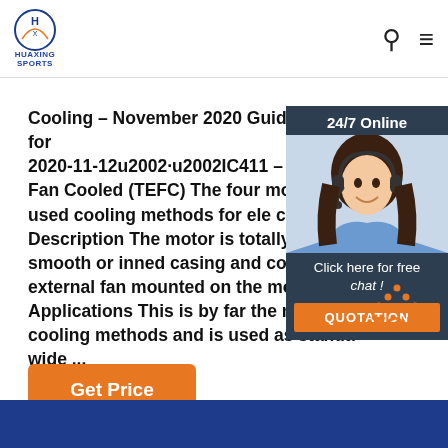HUAXING SPORTS
Cooling – November 2020 Guide Cooling for 2020-11-12u2002·u2002IC411 – Totally Fan Cooled (TEFC) The four most frequently used cooling methods for ele ctric motors. Description The motor is totally enclosed smooth or inned casing and cooled by an external fan mounted on the motor shaft. Applications This is by far the most common cooling methods and is used as standard world wide ...
[Figure (photo): Customer service representative woman with headset smiling, with 24/7 Online chat widget overlay showing orange QUOTATION button]
Click here for free chat !
QUOTATION
Get Price
[Figure (other): Orange dotted triangle/house icon above orange TOP text, back-to-top button]